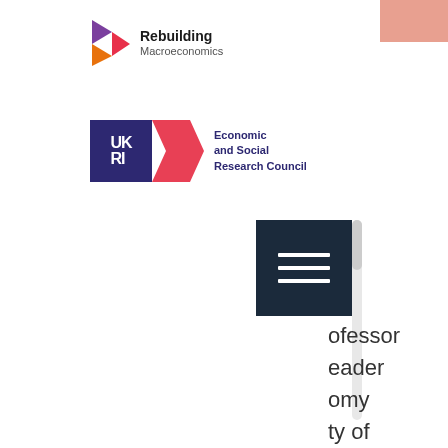[Figure (logo): Rebuilding Macroeconomics logo — arrow chevron icon in pink/orange/purple gradient with 'Rebuilding Macroeconomics' text]
[Figure (logo): UKRI Economic and Social Research Council logo — dark blue UKRI box, red/pink chevron K shape, ESRC text]
[Figure (other): Salmon/peach colored decorative block in top right corner]
[Figure (screenshot): Dark navy hamburger menu button with three white horizontal lines]
ofessor
eader
omy
ty of